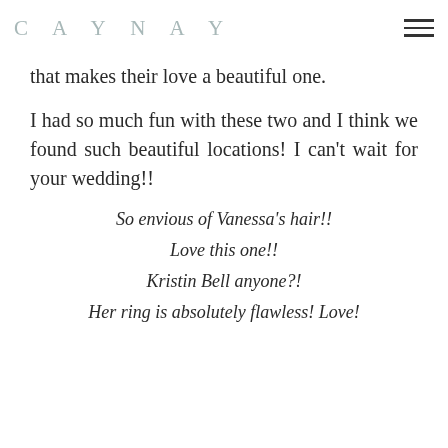CAYNAY
that makes their love a beautiful one.
I had so much fun with these two and I think we found such beautiful locations! I can't wait for your wedding!!
So envious of Vanessa's hair!!
Love this one!!
Kristin Bell anyone?!
Her ring is absolutely flawless! Love!